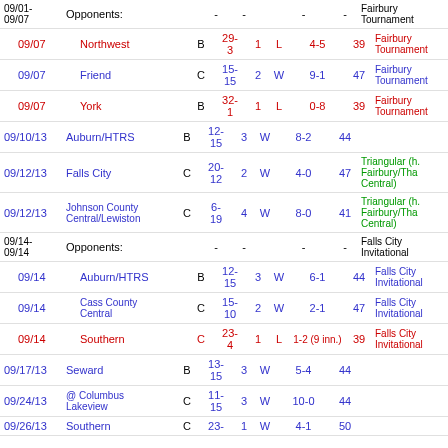| Date | Opponent | Class | Score | Inn | W/L | Record | Att | Notes |
| --- | --- | --- | --- | --- | --- | --- | --- | --- |
| 09/01-09/07 | Opponents: |  | - | - |  | - | - | Fairbury Tournament |
| 09/07 | Northwest | B | 29-3 | 1 | L | 4-5 | 39 | Fairbury Tournament |
| 09/07 | Friend | C | 15-15 | 2 | W | 9-1 | 47 | Fairbury Tournament |
| 09/07 | York | B | 32-1 | 1 | L | 0-8 | 39 | Fairbury Tournament |
| 09/10/13 | Auburn/HTRS | B | 12-15 | 3 | W | 8-2 | 44 |  |
| 09/12/13 | Falls City | C | 20-12 | 2 | W | 4-0 | 47 | Triangular (h. Fairbury/Tha Central) |
| 09/12/13 | Johnson County Central/Lewiston | C | 6-19 | 4 | W | 8-0 | 41 | Triangular (h. Fairbury/Tha Central) |
| 09/14-09/14 | Opponents: |  | - | - |  | - | - | Falls City Invitational |
| 09/14 | Auburn/HTRS | B | 12-15 | 3 | W | 6-1 | 44 | Falls City Invitational |
| 09/14 | Cass County Central | C | 15-10 | 2 | W | 2-1 | 47 | Falls City Invitational |
| 09/14 | Southern | C | 23-4 | 1 | L | 1-2 (9 inn.) | 39 | Falls City Invitational |
| 09/17/13 | Seward | B | 13-15 | 3 | W | 5-4 | 44 |  |
| 09/24/13 | @ Columbus Lakeview | C | 11-15 | 3 | W | 10-0 | 44 |  |
| 09/26/13 | Southern | C | 23- | 1 | W | 4-1 | 50 |  |